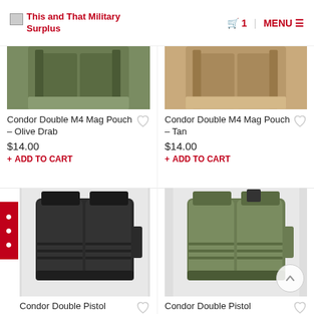This and That Military Surplus | 1 | MENU
[Figure (photo): Partial view of Condor Double M4 Mag Pouch in Olive Drab color, cropped top portion visible]
Condor Double M4 Mag Pouch – Olive Drab
$14.00
+ ADD TO CART
[Figure (photo): Partial view of Condor Double M4 Mag Pouch in Tan color, cropped top portion visible]
Condor Double M4 Mag Pouch – Tan
$14.00
+ ADD TO CART
[Figure (photo): Condor Double Pistol mag pouch in Black color, full product image]
Condor Double Pistol
[Figure (photo): Condor Double Pistol mag pouch in Olive Drab color, full product image]
Condor Double Pistol